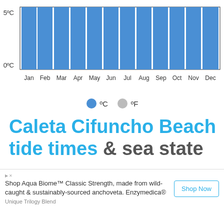[Figure (bar-chart): Sea temperature by month]
● ºC  ○ ºF
Caleta Cifuncho Beach tide times & sea state
Sun 28/08 »
Swell   Wind
Shop Aqua Biome™ Classic Strength, made from wild-caught & sustainably-sourced anchovetа. Enzymedica®
Unique Trilogy Blend